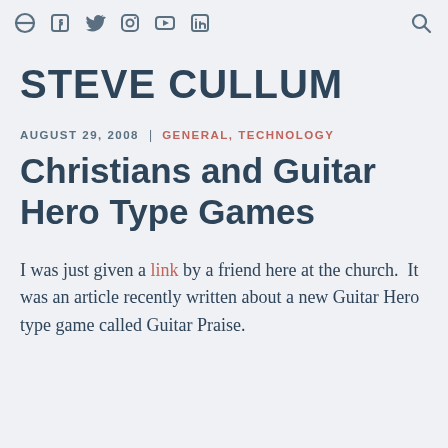Navigation icons: home, facebook, twitter, instagram, youtube, linkedin, search
STEVE CULLUM
AUGUST 29, 2008  |  GENERAL, TECHNOLOGY
Christians and Guitar Hero Type Games
I was just given a link by a friend here at the church.  It was an article recently written about a new Guitar Hero type game called Guitar Praise.